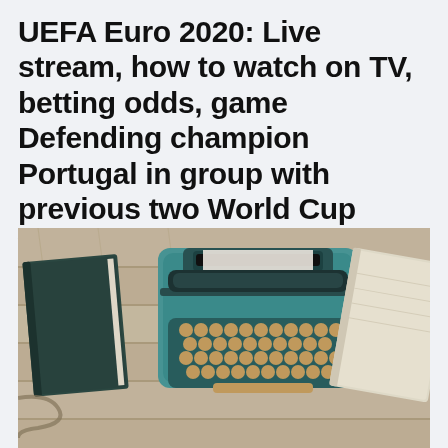UEFA Euro 2020: Live stream, how to watch on TV, betting odds, game Defending champion Portugal in group with previous two World Cup winners, France and Germany. Slovakia in Saint Petersburg (12 p.m. ET, ESPN) Spain
[Figure (photo): Overhead view of a teal/turquoise vintage typewriter on a wooden plank surface, with a dark green book on the left and a cream-colored notebook/paper on the right]